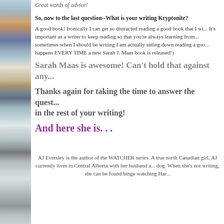Great words of advice!
So, now to the last question--What is your writing Kryptonite?
A good book! Ironically I can get so distracted reading a good book that I wi... It's important as a writer to keep reading so that you're always learning from... sometimes when I should be writing I am actually sitting down reading a goo... happens EVERY TIME a new Sarah J. Maas book is released!)
Sarah Maas is awesome! Can't hold that against any...
Thanks again for taking the time to answer the quest... in the rest of your writing!
And here she is. . .
AJ Eversley is the author of the WATCHER series. A true north Canadian girl, AJ currently lives in Central Alberta with her husband a... dog. When she's not writing, she can be found binge watching Har...